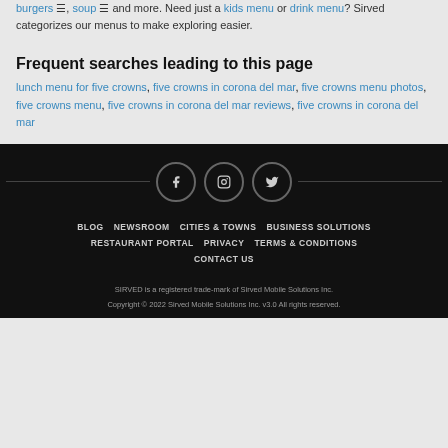burgers ☰, soup ☰ and more. Need just a kids menu or drink menu? Sirved categorizes our menus to make exploring easier.
Frequent searches leading to this page
lunch menu for five crowns, five crowns in corona del mar, five crowns menu photos, five crowns menu, five crowns in corona del mar reviews, five crowns in corona del mar
BLOG NEWSROOM CITIES & TOWNS BUSINESS SOLUTIONS RESTAURANT PORTAL PRIVACY TERMS & CONDITIONS CONTACT US SIRVED is a registered trade-mark of Sirved Mobile Solutions Inc. Copyright © 2022 Sirved Mobile Solutions Inc. v3.0 All rights reserved.